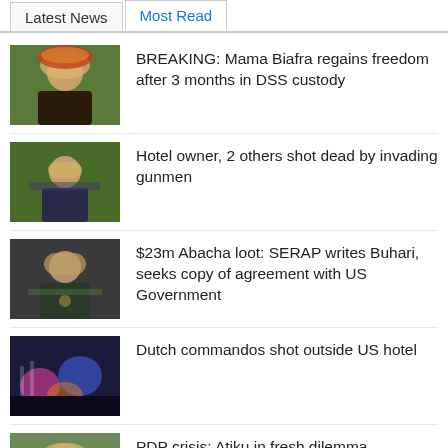Latest News | Most Read
BREAKING: Mama Biafra regains freedom after 3 months in DSS custody
Hotel owner, 2 others shot dead by invading gunmen
$23m Abacha loot: SERAP writes Buhari, seeks copy of agreement with US Government
Dutch commandos shot outside US hotel
PDP crisis: Atiku in fresh dilemma
DISCOVERED: 68 FCT Abuja communities where they still kill twins and 'evil children'